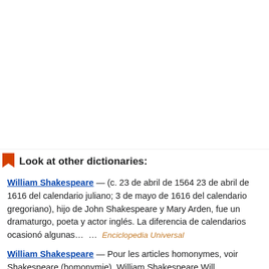Look at other dictionaries:
William Shakespeare — (c. 23 de abril de 1564 23 de abril de 1616 del calendario juliano; 3 de mayo de 1616 del calendario gregoriano), hijo de John Shakespeare y Mary Arden, fue un dramaturgo, poeta y actor inglés. La diferencia de calendarios ocasionó algunas… …   Enciclopedia Universal
William Shakespeare — Pour les articles homonymes, voir Shakespeare (homonymie). William Shakespeare Will…